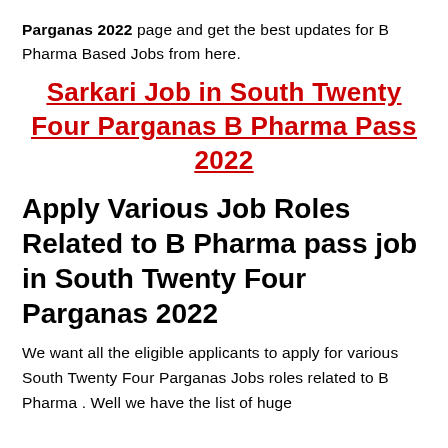Parganas 2022 page and get the best updates for B Pharma Based Jobs from here.
Sarkari Job in South Twenty Four Parganas B Pharma Pass 2022
Apply Various Job Roles Related to B Pharma pass job in South Twenty Four Parganas 2022
We want all the eligible applicants to apply for various South Twenty Four Parganas Jobs roles related to B Pharma . Well we have the list of huge